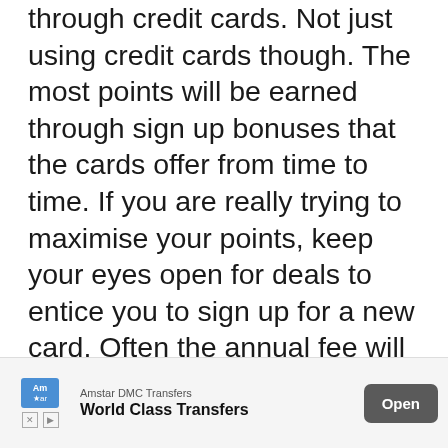through credit cards. Not just using credit cards though. The most points will be earned through sign up bonuses that the cards offer from time to time. If you are really trying to maximise your points, keep your eyes open for deals to entice you to sign up for a new card. Often the annual fee will be waived for the first year, but if it is not then it's important to weigh up the cost against not only the sign up points, but the other things the card offers. For example, the card may have an annual fee of $400AUD, but if it comes with 50000 bonus points, a return domestic flight, some lounge passes and travel insurance. The fee pays for itself
[Figure (other): Advertisement banner for Amstar DMC Transfers - World Class Transfers with Open button]